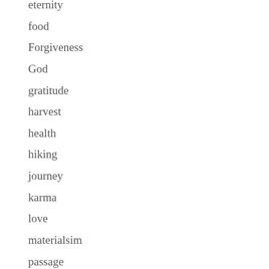eternity
food
Forgiveness
God
gratitude
harvest
health
hiking
journey
karma
love
materialsim
passage
play